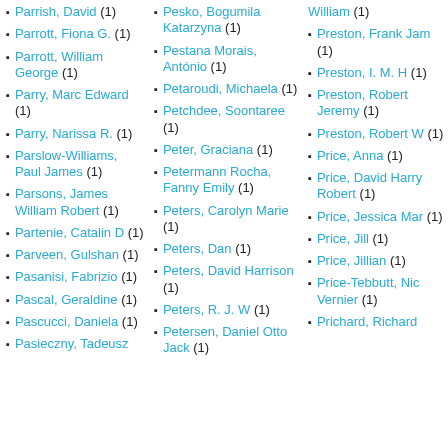Parrish, David (1)
Parrott, Fiona G. (1)
Parrott, William George (1)
Parry, Marc Edward (1)
Parry, Narissa R. (1)
Parslow-Williams, Paul James (1)
Parsons, James William Robert (1)
Partenie, Catalin D (1)
Parveen, Gulshan (1)
Pasanisi, Fabrizio (1)
Pascal, Geraldine (1)
Pascucci, Daniela (1)
Pasieczny, Tadeusz
Pesko, Bogumila Katarzyna (1)
Pestana Morais, António (1)
Petaroudi, Michaela (1)
Petchdee, Soontaree (1)
Peter, Graciana (1)
Petermann Rocha, Fanny Emily (1)
Peters, Carolyn Marie (1)
Peters, Dan (1)
Peters, David Harrison (1)
Peters, R. J. W (1)
Petersen, Daniel Otto Jack (1)
William (1)
Preston, Frank Jam... (1)
Preston, I. M. H (1)
Preston, Robert Jeremy (1)
Preston, Robert W... (1)
Price, Anna (1)
Price, David Harry Robert (1)
Price, Jessica Mar... (1)
Price, Jill (1)
Price, Jillian (1)
Price-Tebbutt, Nic... Vernier (1)
Prichard, Richard
Pric... Ka... M...